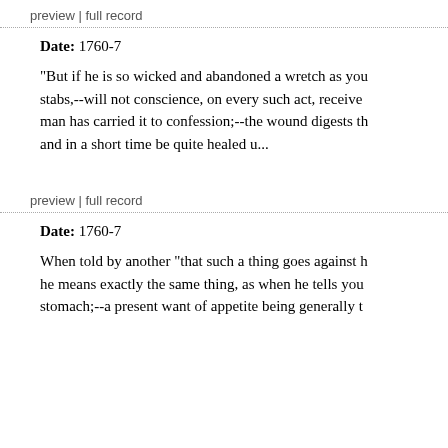preview | full record
Date: 1760-7
"But if he is so wicked and abandoned a wretch as you stabs,--will not conscience, on every such act, receive man has carried it to confession;--the wound digests th and in a short time be quite healed u...
preview | full record
Date: 1760-7
When told by another "that such a thing goes against h he means exactly the same thing, as when he tells you stomach;--a present want of appetite being generally t